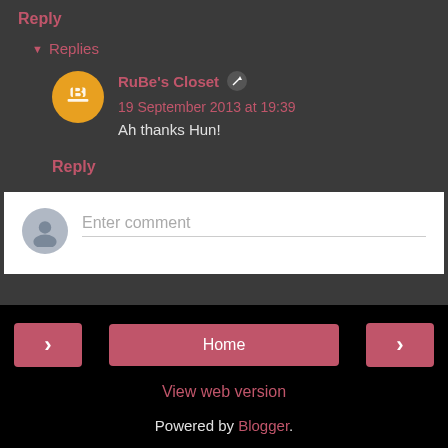Reply
▼ Replies
RuBe's Closet ✎ 19 September 2013 at 19:39
Ah thanks Hun!
Reply
Enter comment
Home
View web version
Powered by Blogger.